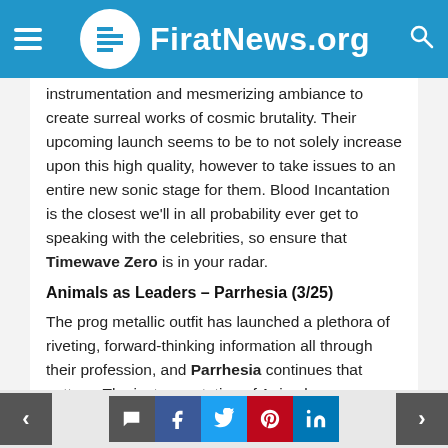FiratNews.org
instrumentation and mesmerizing ambiance to create surreal works of cosmic brutality. Their upcoming launch seems to be to not solely increase upon this high quality, however to take issues to an entire new sonic stage for them. Blood Incantation is the closest we'll in all probability ever get to speaking with the celebrities, so ensure that Timewave Zero is in your radar.
Animals as Leaders – Parrhesia (3/25)
The prog metallic outfit has launched a plethora of riveting, forward-thinking information all through their profession, and Parrhesia continues that pattern. The instrumentation of Animals as
< [comment] [f] [t] [p] [in] >